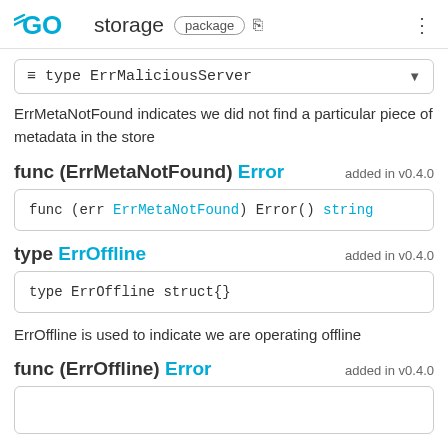GO storage package
≡ type ErrMaliciousServer
ErrMetaNotFound indicates we did not find a particular piece of metadata in the store
func (ErrMetaNotFound) Error   added in v0.4.0
func (err ErrMetaNotFound) Error() string
type ErrOffline   added in v0.4.0
type ErrOffline struct{}
ErrOffline is used to indicate we are operating offline
func (ErrOffline) Error   added in v0.4.0